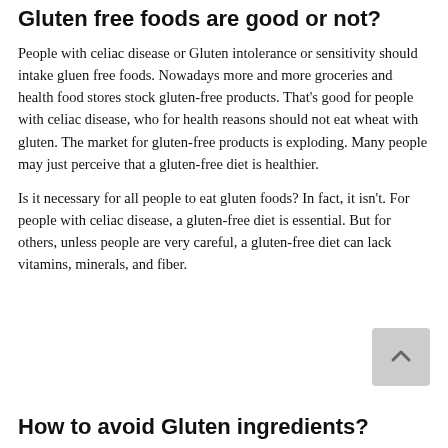Gluten free foods are good or not?
People with celiac disease or Gluten intolerance or sensitivity should intake gluen free foods. Nowadays more and more groceries and health food stores stock gluten-free products. That's good for people with celiac disease, who for health reasons should not eat wheat with gluten. The market for gluten-free products is exploding. Many people may just perceive that a gluten-free diet is healthier.
Is it necessary for all people to eat gluten foods? In fact, it isn't. For people with celiac disease, a gluten-free diet is essential. But for others, unless people are very careful, a gluten-free diet can lack vitamins, minerals, and fiber.
How to avoid Gluten ingredients?